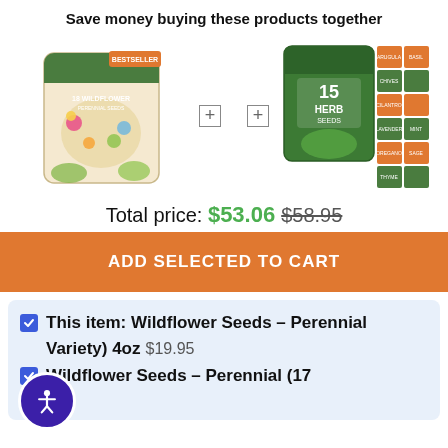Save money buying these products together
[Figure (photo): Wildflower seeds product bag with bestseller badge and herb seeds packet bundle]
Total price: $53.06  $58.95
ADD SELECTED TO CART
This item: Wildflower Seeds - Perennial Variety) 4oz  $19.95
Wildflower Seeds - Perennial (17